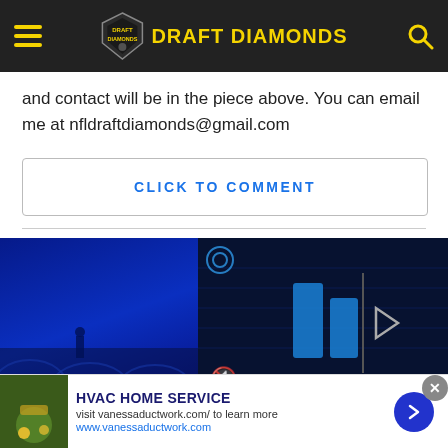DRAFT DIAMONDS
and contact will be in the piece above. You can email me at nfldraftdiamonds@gmail.com
CLICK TO COMMENT
[Figure (screenshot): Video player showing stadium with blue lights on left, and a dark video player interface with blue triangular play icons and a mute button on the right]
[Figure (infographic): Advertisement bar: HVAC HOME SERVICE - visit vanessaductwork.com/ to learn more - www.vanessaductwork.com, with gardening photo thumbnail and blue arrow button]